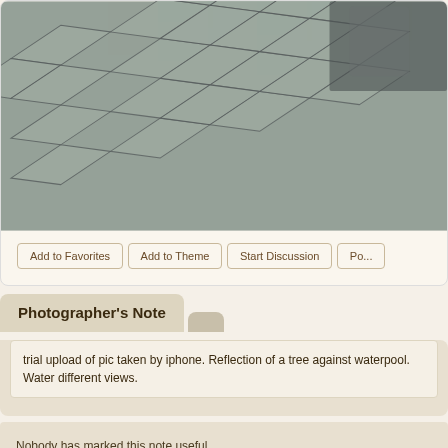[Figure (photo): Black and white photo of cobblestone pavement shot at an angle, with what appears to be people or objects in the upper right corner.]
Add to Favorites  Add to Theme  Start Discussion  Po...
Photographer's Note
trial upload of pic taken by iphone. Reflection of a tree against waterpool. Water different views.
Nobody has marked this note useful